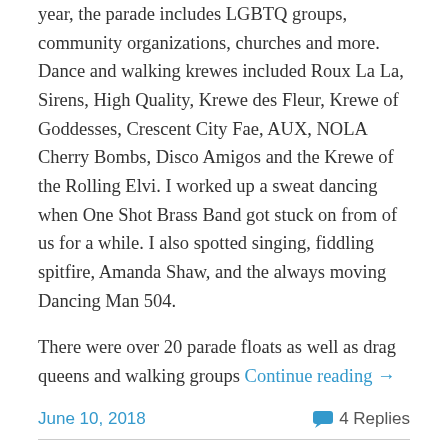year, the parade includes LGBTQ groups, community organizations, churches and more. Dance and walking krewes included Roux La La, Sirens, High Quality, Krewe des Fleur, Krewe of Goddesses, Crescent City Fae, AUX, NOLA Cherry Bombs, Disco Amigos and the Krewe of the Rolling Elvi. I worked up a sweat dancing when One Shot Brass Band got stuck on from of us for a while. I also spotted singing, fiddling spitfire, Amanda Shaw, and the always moving Dancing Man 504.
There were over 20 parade floats as well as drag queens and walking groups Continue reading →
June 10, 2018    4 Replies
Naked Bike Ride